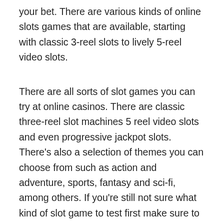your bet. There are various kinds of online slots games that are available, starting with classic 3-reel slots to lively 5-reel video slots.
There are all sorts of slot games you can try at online casinos. There are classic three-reel slot machines 5 reel video slots and even progressive jackpot slots. There's also a selection of themes you can choose from such as action and adventure, sports, fantasy and sci-fi, among others. If you're still not sure what kind of slot game to test first make sure to check this casino's "Featured Games" section for some suggestions.
Playing slots online is a great option to play it's classic casino game in the comfort of your home. There is a broad choice of games to play at online casinos. This includes classic three-reel slot games and even 5-reel slots.